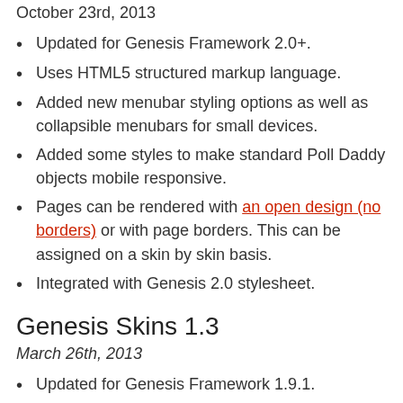October 23rd, 2013
Updated for Genesis Framework 2.0+.
Uses HTML5 structured markup language.
Added new menubar styling options as well as collapsible menubars for small devices.
Added some styles to make standard Poll Daddy objects mobile responsive.
Pages can be rendered with an open design (no borders) or with page borders. This can be assigned on a skin by skin basis.
Integrated with Genesis 2.0 stylesheet.
Genesis Skins 1.3
March 26th, 2013
Updated for Genesis Framework 1.9.1.